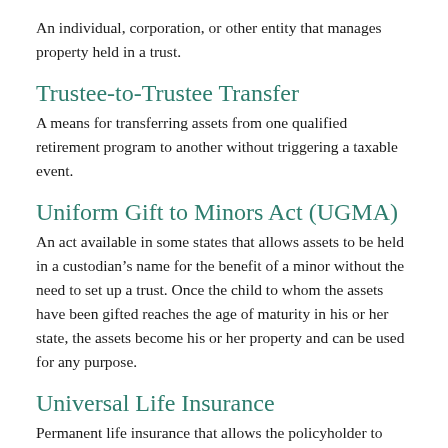An individual, corporation, or other entity that manages property held in a trust.
Trustee-to-Trustee Transfer
A means for transferring assets from one qualified retirement program to another without triggering a taxable event.
Uniform Gift to Minors Act (UGMA)
An act available in some states that allows assets to be held in a custodian’s name for the benefit of a minor without the need to set up a trust. Once the child to whom the assets have been gifted reaches the age of maturity in his or her state, the assets become his or her property and can be used for any purpose.
Universal Life Insurance
Permanent life insurance that allows the policyholder to vary the amount and timing of premiums and, by extension, the death benefit. Universal life insurance